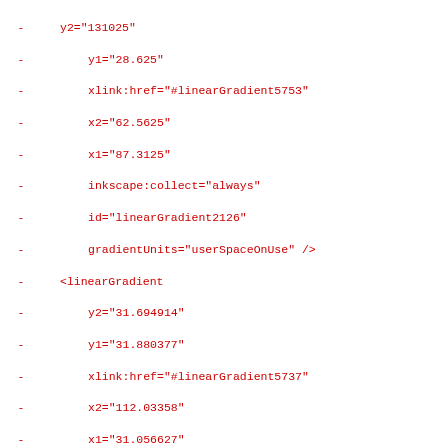- y2="131025"
-   y1="28.625"
-   xlink:href="#linearGradient5753"
-   x2="62.5625"
-   x1="87.3125"
-   inkscape:collect="always"
-   id="linearGradient2126"
-   gradientUnits="userSpaceOnUse" />
- <linearGradient
-   y2="31.694914"
-   y1="31.880377"
-   xlink:href="#linearGradient5737"
-   x2="112.03358"
-   x1="31.056627"
-   inkscape:collect="always"
-   id="linearGradient2124"
-   gradientUnits="userSpaceOnUse" />
- <linearGradient
-   y2="31.396669"
-   y1="31.148083"
-   xlink:href="#linearGradient5737"
-   x2="64.890297"
-   x1="76.37114"
-   inkscape:collect="always"
-   id="linearGradient2122"
-   gradientUnits="userSpaceOnUse"
-   gradientTransform="matrix(1.11533,0,0,1.089
- <linearGradient
-   y2="30.485193"
-   y1="30.485193"
-   xlink:href="#linearGradient5745"